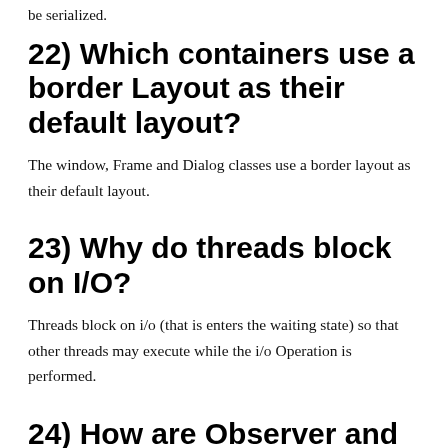be serialized.
22) Which containers use a border Layout as their default layout?
The window, Frame and Dialog classes use a border layout as their default layout.
23) Why do threads block on I/O?
Threads block on i/o (that is enters the waiting state) so that other threads may execute while the i/o Operation is performed.
24) How are Observer and Observable used?